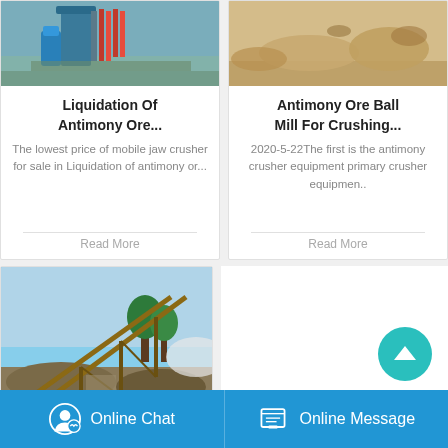[Figure (photo): Mining/drilling equipment with blue machinery and red hoses at a construction site]
Liquidation Of Antimony Ore...
The lowest price of mobile jaw crusher for sale in Liquidation of antimony or...
Read More
[Figure (photo): Sandy terrain with excavated mounds, antimony ore site]
Antimony Ore Ball Mill For Crushing...
2020-5-22The first is the antimony crusher equipment primary crusher equipmen..
Read More
[Figure (photo): Conveyor belts and crushing equipment at a quarry/mining site with gravel piles and trees]
Online Chat
Online Message